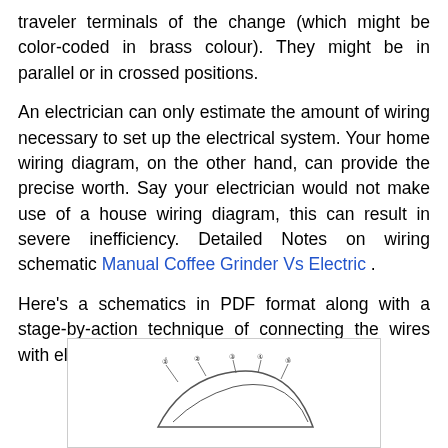traveler terminals of the change (which might be color-coded in brass colour). They might be in parallel or in crossed positions.
An electrician can only estimate the amount of wiring necessary to set up the electrical system. Your home wiring diagram, on the other hand, can provide the precise worth. Say your electrician would not make use of a house wiring diagram, this can result in severe inefficiency. Detailed Notes on wiring schematic Manual Coffee Grinder Vs Electric .
Here's a schematics in PDF format along with a stage-by-action technique of connecting the wires with electrical power at the change:
[Figure (engineering-diagram): Partial engineering/wiring diagram showing a car top-view schematic with numbered callouts pointing to various components on the vehicle roof/body outline.]